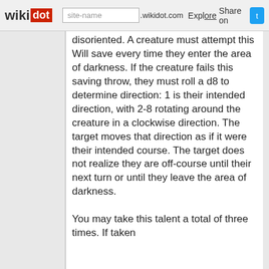wikidot | site-name .wikidot.com | Explore | Share on Twitter
disoriented. A creature must attempt this Will save every time they enter the area of darkness. If the creature fails this saving throw, they must roll a d8 to determine direction: 1 is their intended direction, with 2-8 rotating around the creature in a clockwise direction. The target moves that direction as if it were their intended course. The target does not realize they are off-course until their next turn or until they leave the area of darkness.

You may take this talent a total of three times. If taken